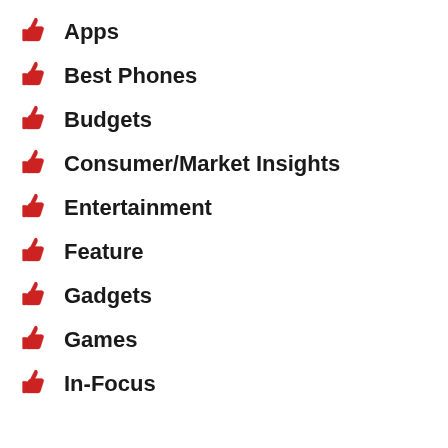Apps
Best Phones
Budgets
Consumer/Market Insights
Entertainment
Feature
Gadgets
Games
In-Focus